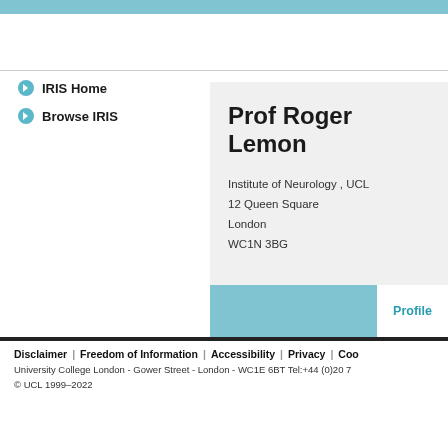UCL IRIS
IRIS Home
Browse IRIS
Prof Roger Lemon
Institute of Neurology , UCL
12 Queen Square
London
WC1N 3BG
Profile
Disclaimer | Freedom of Information | Accessibility | Privacy | Co...
University College London - Gower Street - London - WC1E 6BT Tel:+44 (0)20 7...
© UCL 1999–2022